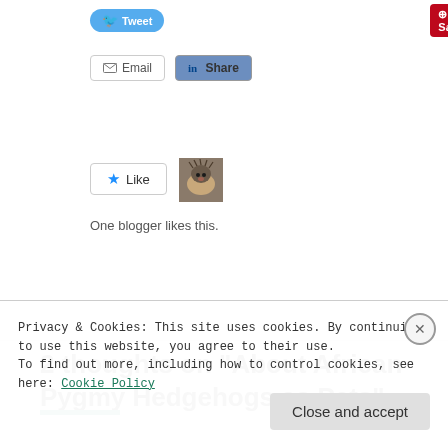[Figure (screenshot): Social sharing buttons: Tweet (Twitter), Pinterest Save with count 95, Email, LinkedIn Share]
[Figure (photo): Small thumbnail photo of a hedgehog]
One blogger likes this.
2 thoughts on “About African Pygmy Hedgehogs as Pets”
Privacy & Cookies: This site uses cookies. By continuing to use this website, you agree to their use.
To find out more, including how to control cookies, see here: Cookie Policy
Close and accept